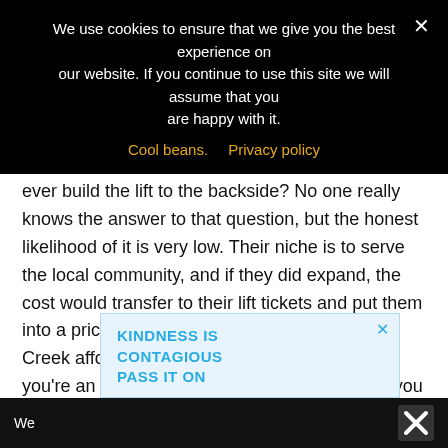We use cookies to ensure that we give you the best experience on our website. If you continue to use this site we will assume that you are happy with it.
Cool beans.   Privacy policy
ever build the lift to the backside? No one really knows the answer to that question, but the honest likelihood of it is very low. Their niche is to serve the local community, and if they did expand, the cost would transfer to their lift tickets and put them into a price range that wouldn't make Pebble Creek affordable. Makes sense to me! But, if you're an experienced backcountry skier/rider, you can still access the terrain (and maybe have it all to yourself like we did).
Buddy's – Classic Italian For An Affordable Price
KINDNESS IS CONTAGIOUS PASS IT ON